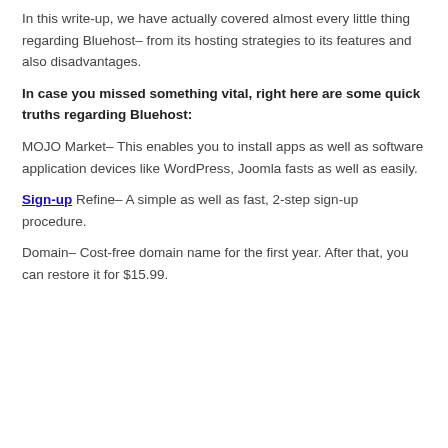In this write-up, we have actually covered almost every little thing regarding Bluehost– from its hosting strategies to its features and also disadvantages.
In case you missed something vital, right here are some quick truths regarding Bluehost:
MOJO Market– This enables you to install apps as well as software application devices like WordPress, Joomla fasts as well as easily.
Sign-up Refine– A simple as well as fast, 2-step sign-up procedure.
Domain– Cost-free domain name for the first year. After that, you can restore it for $15.99.